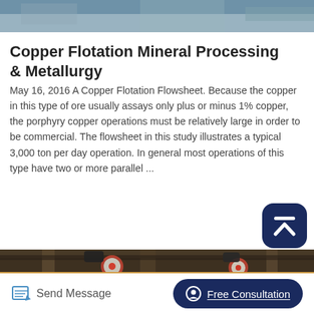[Figure (photo): Top portion of an industrial facility image, partially visible at the very top of the page]
Copper Flotation Mineral Processing & Metallurgy
May 16, 2016 A Copper Flotation Flowsheet. Because the copper in this type of ore usually assays only plus or minus 1% copper, the porphyry copper operations must be relatively large in order to be commercial. The flowsheet in this study illustrates a typical 3,000 ton per day operation. In general most operations of this type have two or more parallel ...
[Figure (photo): Industrial mineral processing machinery showing large wheels/pulleys mounted on overhead rails in a processing plant, viewed from below at an angle]
Send Message   Free Consultation